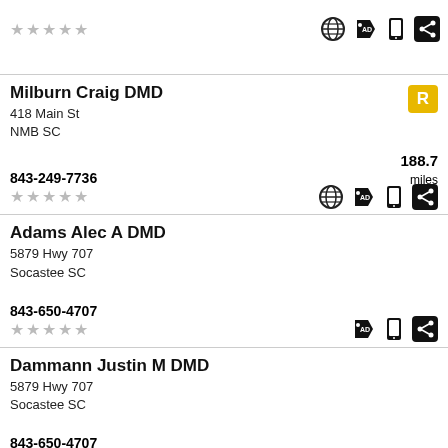★★★★★ (empty stars) with icons: globe, ad-tag, phone, share
Milburn Craig DMD
418 Main St
NMB SC
843-249-7736
188.7 miles
[R badge]
Adams Alec A DMD
5879 Hwy 707
Socastee SC
843-650-4707
Dammann Justin M DMD
5879 Hwy 707
Socastee SC
843-650-4707
Mills James E DDS
Market Common Dentistry
[S badge]